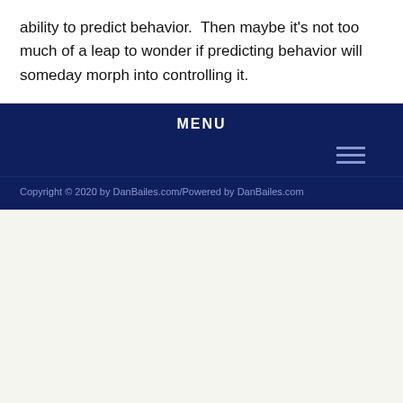ability to predict behavior.  Then maybe it's not too much of a leap to wonder if predicting behavior will someday morph into controlling it.
MENU
Copyright © 2020 by DanBailes.com/Powered by DanBailes.com